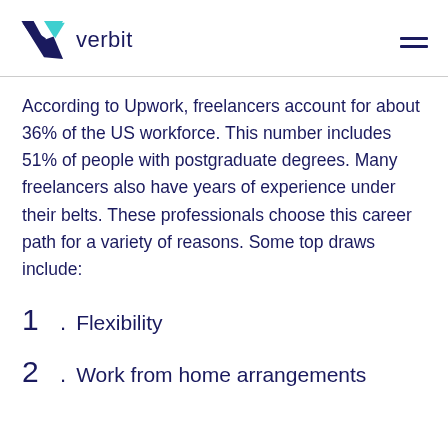verbit
According to Upwork, freelancers account for about 36% of the US workforce. This number includes 51% of people with postgraduate degrees. Many freelancers also have years of experience under their belts. These professionals choose this career path for a variety of reasons. Some top draws include:
1. Flexibility
2. Work from home arrangements